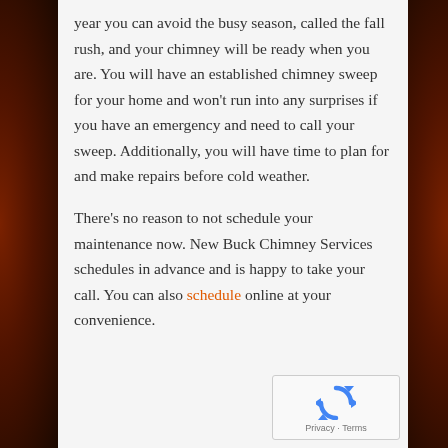year you can avoid the busy season, called the fall rush, and your chimney will be ready when you are. You will have an established chimney sweep for your home and won't run into any surprises if you have an emergency and need to call your sweep. Additionally, you will have time to plan for and make repairs before cold weather.
There's no reason to not schedule your maintenance now. New Buck Chimney Services schedules in advance and is happy to take your call. You can also schedule online at your convenience.